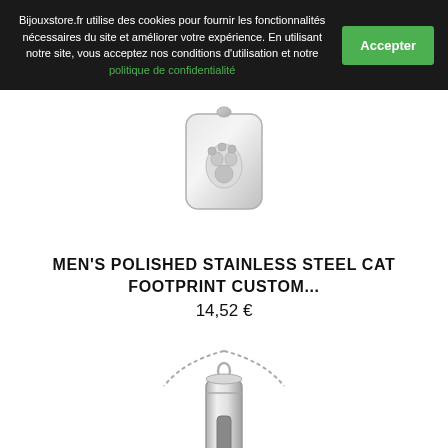Bijouxstore.fr utilise des cookies pour fournir les fonctionnalités nécessaires du site et améliorer votre expérience. En utilisant notre site, vous acceptez nos conditions d'utilisation et notre politique de confidentialité
[Figure (photo): A polished stainless steel cat footprint pendant on a white background]
MEN'S POLISHED STAINLESS STEEL CAT FOOTPRINT CUSTOM...
14,52 €
[Figure (photo): A stainless steel cylindrical pendant necklace on a chain]